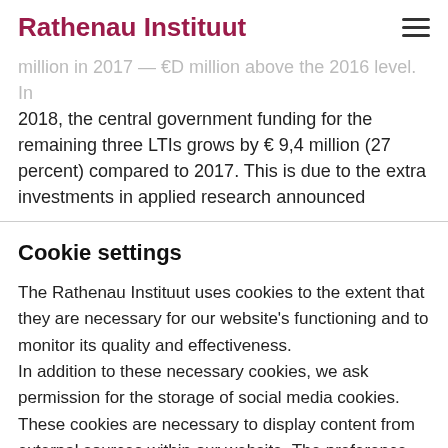Rathenau Instituut
million in 2017 — €D million above the 2016 level. In 2018, the central government funding for the remaining three LTIs grows by € 9,4 million (27 percent) compared to 2017. This is due to the extra investments in applied research announced
Cookie settings
The Rathenau Instituut uses cookies to the extent that they are necessary for our website's functioning and to monitor its quality and effectiveness.
In addition to these necessary cookies, we ask permission for the storage of social media cookies. These cookies are necessary to display content from external sources within our website. The preference for these cookies can be changed at any time via the cookie settings.